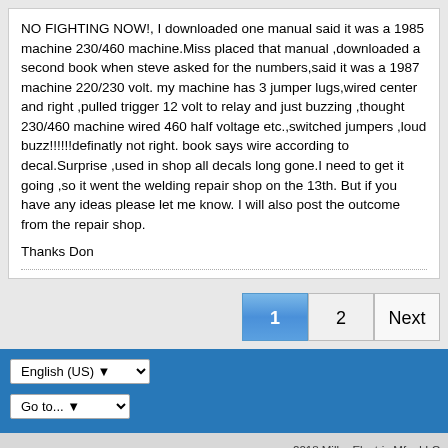NO FIGHTING NOW!, I downloaded one manual said it was a 1985 machine 230/460 machine.Miss placed that manual ,downloaded a second book when steve asked for the numbers,said it was a 1987 machine 220/230 volt. my machine has 3 jumper lugs,wired center and right ,pulled trigger 12 volt to relay and just buzzing ,thought 230/460 machine wired 460 half voltage etc.,switched jumpers ,loud buzz!!!!!!definatly not right. book says wire according to decal.Surprise ,used in shop all decals long gone.I need to get it going ,so it went the welding repair shop on the 13th. But if you have any ideas please let me know. I will also post the outcome from the repair shop.

Thanks Don
1  2  Next
English (US)  Go to...
2018 Miller Electric Mfg. LLC
Powered by vBulletin® Version 5.6.9
Copyright © 2022 vBulletin Solutions, Inc. All rights reserved.
All times are GMT-6. This page was generated at 03:08 PM.